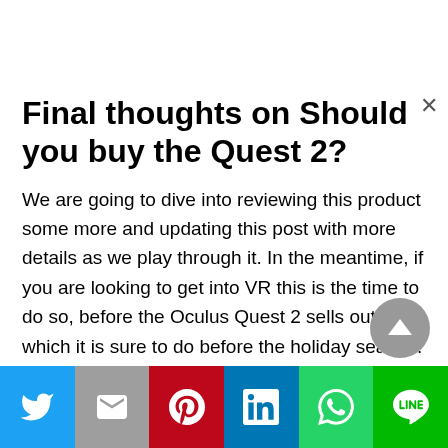Final thoughts on Should you buy the Quest 2?
We are going to dive into reviewing this product some more and updating this post with more details as we play through it. In the meantime, if you are looking to get into VR this is the time to do so, before the Oculus Quest 2 sells out, which it is sure to do before the holiday season.
[Figure (other): Social media share bar with Twitter, Gmail, Pinterest, LinkedIn, WhatsApp, and LINE buttons]